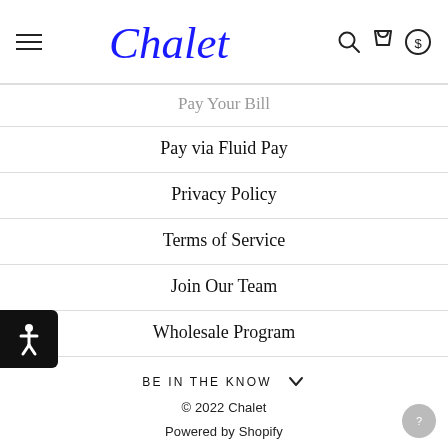[Figure (logo): Chalet script logo in blue with hamburger menu, search, cart, and currency icons in header]
Pay Your Bill
Pay via Fluid Pay
Privacy Policy
Terms of Service
Join Our Team
Wholesale Program
BE IN THE KNOW
© 2022 Chalet
Powered by Shopify